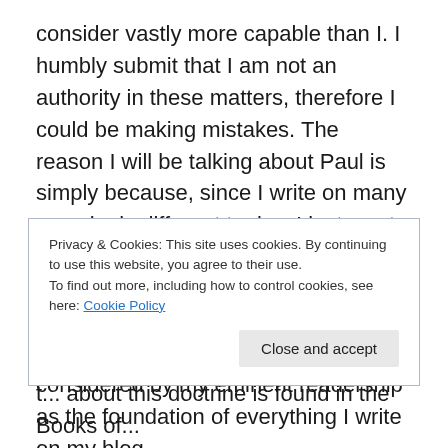consider vastly more capable than I. I humbly submit that I am not an authority in these matters, therefore I could be making mistakes. The reason I will be talking about Paul is simply because, since I write on many seemingly different topics, I just want to set the foundation or basis for the things I write. What I am going to write about the Apostle Paul in this and the following few posts should be considered by my eminent readership as the foundation of everything I write on my blog crossofchristblog@wordpress.com. Without the Pauline doctrine that I am about to discuss here this blog would
Privacy & Cookies: This site uses cookies. By continuing to use this website, you agree to their use. To find out more, including how to control cookies, see here: Cookie Policy
Close and accept
t... about this doctrine is found in the Books of...